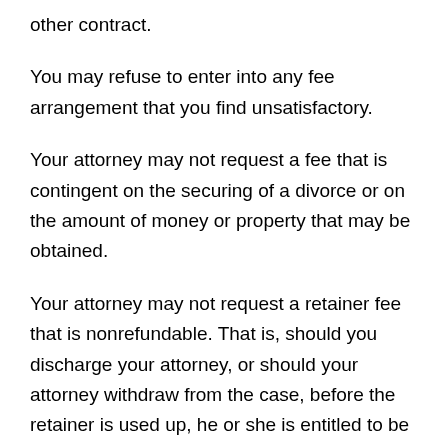other contract.
You may refuse to enter into any fee arrangement that you find unsatisfactory.
Your attorney may not request a fee that is contingent on the securing of a divorce or on the amount of money or property that may be obtained.
Your attorney may not request a retainer fee that is nonrefundable. That is, should you discharge your attorney, or should your attorney withdraw from the case, before the retainer is used up, he or she is entitled to be paid commensurate with the work performed on your case and any expenses, but must return the balance of the retainer to you. However, your attorney may enter into a minimum fee